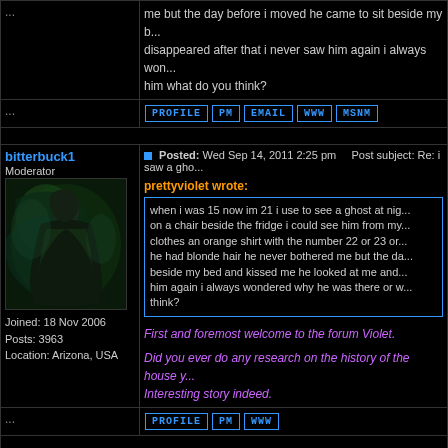me but the day before i moved he came to sit beside my b... disappeared after that i never saw him again i always won... him what do you think?
... PROFILE PM EMAIL WWW MSNM
bitterbuck1 - Moderator
Joined: 18 Nov 2006
Posts: 3963
Location: Arizona, USA
Posted: Wed Sep 14, 2011 2:25 pm   Post subject: Re: i saw a gho...
prettyviolet wrote:
when i was 15 now im 21 i use to see a ghost at nig... on a chair beside the fridge i could see him from my... clothes an orange shirt with the number 22 or 23 or... he had blonde hair he never bothered me but the da... beside my bed and kissed me he looked at me and... him again i always wondered why he was there or w... think?
First and foremost welcome to the forum Violet.
Did you ever do any research on the history of the house y... Interesting story indeed.
... PROFILE PM WWW
thecactus
Joined: 07 Mar 2011
Posts: 3192
Posted: Wed Sep 14, 2011 2:58 pm   Post subject:
prettyviolet, welcome to the forum 😊